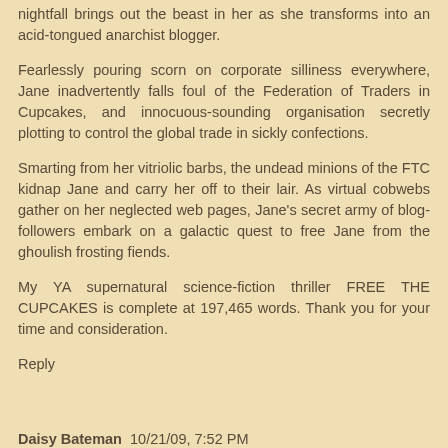nightfall brings out the beast in her as she transforms into an acid-tongued anarchist blogger.
Fearlessly pouring scorn on corporate silliness everywhere, Jane inadvertently falls foul of the Federation of Traders in Cupcakes, and innocuous-sounding organisation secretly plotting to control the global trade in sickly confections.
Smarting from her vitriolic barbs, the undead minions of the FTC kidnap Jane and carry her off to their lair. As virtual cobwebs gather on her neglected web pages, Jane's secret army of blog-followers embark on a galactic quest to free Jane from the ghoulish frosting fiends.
My YA supernatural science-fiction thriller FREE THE CUPCAKES is complete at 197,465 words. Thank you for your time and consideration.
Reply
Daisy Bateman  10/21/09, 7:52 PM
"Hey, this bathwater has a baby in it."